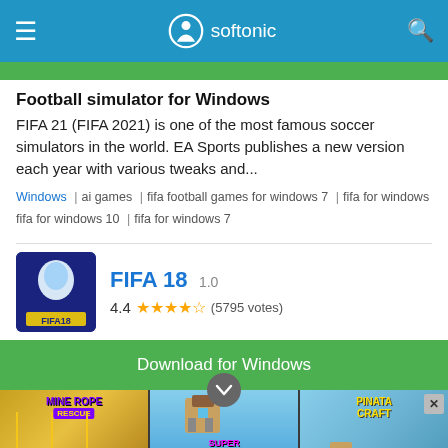softonic
Football simulator for Windows
FIFA 21 (FIFA 2021) is one of the most famous soccer simulators in the world. EA Sports publishes a new version each year with various tweaks and...
Windows | ai games | fifa football games for windows 7 | fifa for windows fifa for windows 10 | fifa for windows 7
FIFA 18  1.0
4.4 (5795 votes)
Download for Windows
[Figure (screenshot): Advertisement banner showing three mobile game ads: Mine Rope Rescue, Super Run Craft, and Pinata Craft]